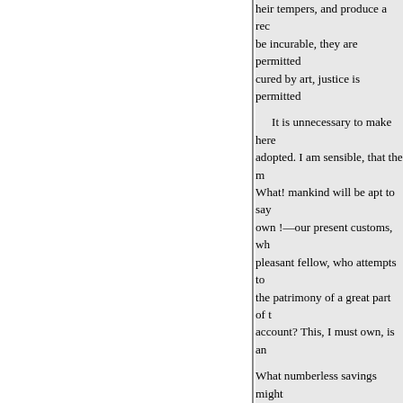their tempers, and produce a rec... be incurable, they are permitted ... cured by art, justice is permitted ... It is unnecessary to make here ... adopted. I am sensible, that the m... What! mankind will be apt to say ... own !—our present customs, wh... pleasant fellow, who attempts to ... the patrimony of a great part of t... account? This, I must own, is an ... What numberless savings might ... exercising trade, without the nec... every state, from a spirit of mono... society. Such a clog upon indust... state of hopeless indigence. We h... means increase the obstacles, or ... state, under wrong or needy adm... Exclusive of the masters, there a... freedoms, and suchlike impositio... should be abolished without me... of all those outrages which natur... have seen, I never saw a city or v... public houses. In Rotterdam, you